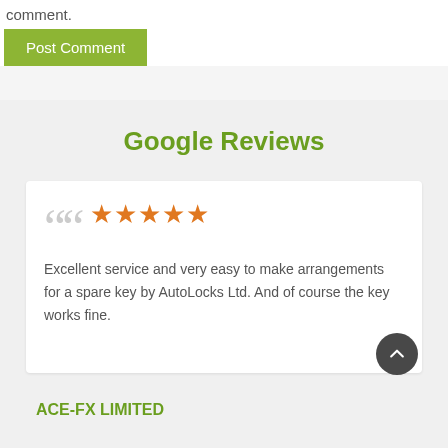comment.
Post Comment
Google Reviews
Excellent service and very easy to make arrangements for a spare key by AutoLocks Ltd. And of course the key works fine.
ACE-FX LIMITED